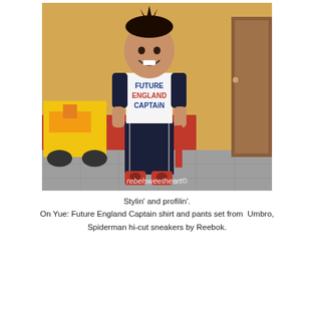[Figure (photo): A young boy smiling, wearing a white raglan shirt with navy blue sleeves that reads 'FUTURE ENGLAND CAPTAIN', navy pants, and red Spiderman hi-cut sneakers by Reebok. He is standing in front of a yellow toy motorcycle and a wall painted yellow and red. A watermark reads 'rebelsweetheart©'.]
Stylin' and profilin'.
On Yue: Future England Captain shirt and pants set from  Umbro,
Spiderman hi-cut sneakers by Reebok.